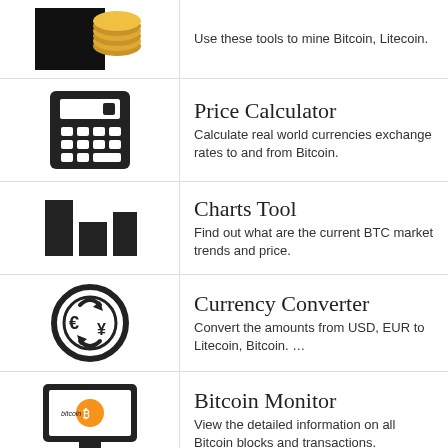[Figure (illustration): Coins/mining icon (partially visible, black background with gold coins)]
Use these tools to mine Bitcoin, Litecoin.
[Figure (illustration): Calculator icon (black calculator with screen and keys)]
Price Calculator
Calculate real world currencies exchange rates to and from Bitcoin.
[Figure (illustration): Bar chart icon (black bars of varying height)]
Charts Tool
Find out what are the current BTC market trends and price.
[Figure (illustration): Currency converter icon (circle with euro and yen symbols and arrows)]
Currency Converter
Convert the amounts from USD, EUR to Litecoin, Bitcoin. …
[Figure (illustration): Bitcoin Monitor icon (computer monitor displaying bitcoin logo)]
Bitcoin Monitor
View the detailed information on all Bitcoin blocks and transactions.
[Figure (illustration): Scale/balance icon (scales of justice, black)]
Exchange Comparison
Compare exchanges in various criteria.